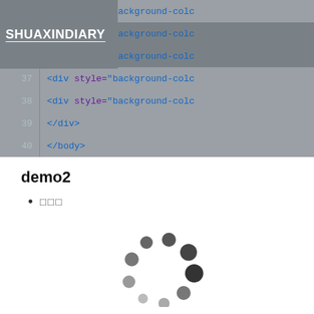SHUAXINDIARY
34    <div style="background-colc
35    <div style="background-colc
36    <div style="background-colc
37    <div style="background-colc
38    <div style="background-colc
39      </div>
40    </body>
demo2
□□□
[Figure (other): Animated loading spinner — a circular arrangement of dots in varying shades of gray, from dark to light, suggesting a spinning/loading animation.]